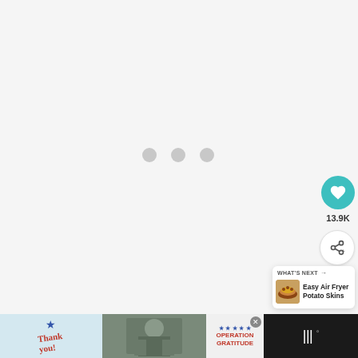[Figure (screenshot): Loading screen with three gray dots indicating content is loading, on a light gray background]
[Figure (screenshot): Like button (heart icon in teal circle) with count 13.9K, and share button (share icon in white circle) on the right side]
13.9K
[Figure (screenshot): What's Next panel showing 'Easy Air Fryer Potato Skins' with a food thumbnail image]
[Figure (screenshot): Advertisement banner at bottom: Operation Gratitude 'Thank you' military appreciation ad with close button, and Tastemade logo]